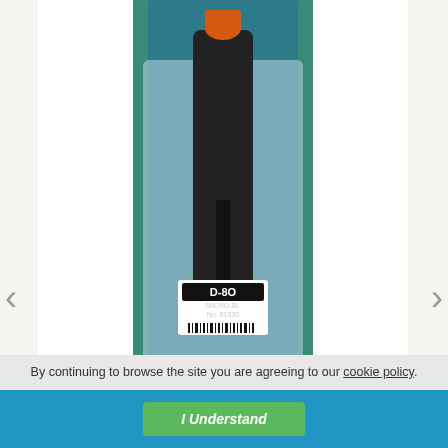[Figure (photo): Product photo of Adonis D-8MC lead, packaged in a plastic bag with a label showing D-8O and a barcode, on a teal/blue background]
ADONIS D-8MC
Adonis Lead RJ-45 8Pin Modular Alinco Plug
IN STOCK
£22.46 ex VAT
ADD
By continuing to browse the site you are agreeing to our cookie policy.
I Understand